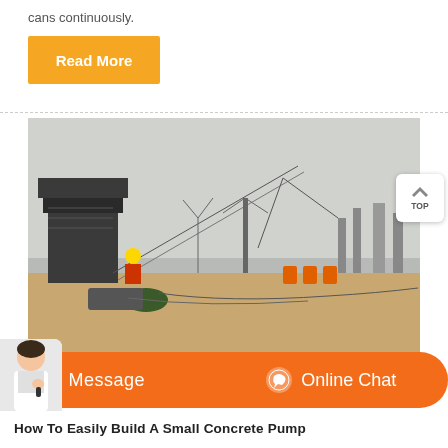cans continuously.
Read More
[Figure (photo): Construction site photo showing a large conveyor belt system / aggregate handling equipment on a flat sandy site, with workers in safety gear visible. Grey overcast sky in background, scaffolding and structures on right.]
Message
Online Chat
How To Easily Build A Small Concrete Pump